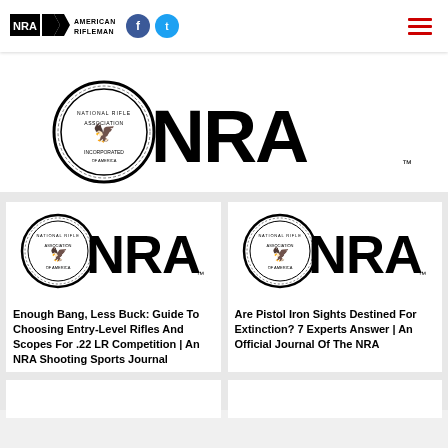NRA American Rifleman
[Figure (logo): NRA American Rifleman logo with seal and large NRA text]
[Figure (logo): NRA logo with eagle seal - left card]
Enough Bang, Less Buck: Guide To Choosing Entry-Level Rifles And Scopes For .22 LR Competition | An NRA Shooting Sports Journal
[Figure (logo): NRA logo with eagle seal - right card]
Are Pistol Iron Sights Destined For Extinction? 7 Experts Answer | An Official Journal Of The NRA